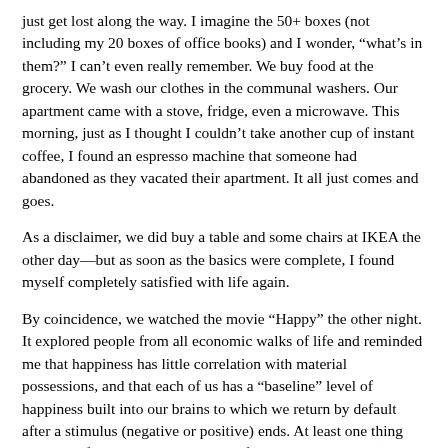just get lost along the way. I imagine the 50+ boxes (not including my 20 boxes of office books) and I wonder, "what’s in them?" I can’t even really remember. We buy food at the grocery. We wash our clothes in the communal washers. Our apartment came with a stove, fridge, even a microwave. This morning, just as I thought I couldn’t take another cup of instant coffee, I found an espresso machine that someone had abandoned as they vacated their apartment. It all just comes and goes.
As a disclaimer, we did buy a table and some chairs at IKEA the other day—but as soon as the basics were complete, I found myself completely satisfied with life again.
By coincidence, we watched the movie “Happy” the other night. It explored people from all economic walks of life and reminded me that happiness has little correlation with material possessions, and that each of us has a “baseline” level of happiness built into our brains to which we return by default after a stimulus (negative or positive) ends. At least one thing rings true for me: with a bed, table, food, and my laptop (I am a creature of this century), I did quickly return to a state of happiness pretty quickly after the chaos and anxiety of moving. Another interesting fact from the film is that there’s a significant amount of happiness gained when one’s income climbs between  $0 and $50,000, but almost no happiness gained between $50,000 and $5,000,000.